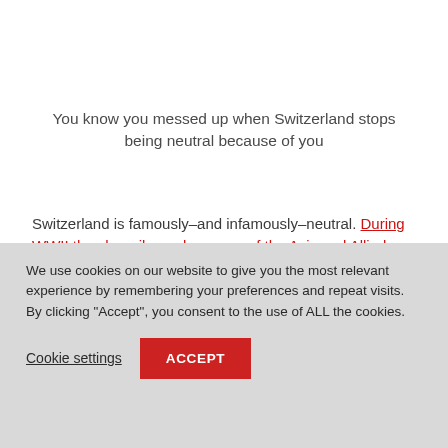You know you messed up when Switzerland stops being neutral because of you
Switzerland is famously–and infamously–neutral. During WWII they happily made money of the Axis and Allied countries.
We use cookies on our website to give you the most relevant experience by remembering your preferences and repeat visits. By clicking "Accept", you consent to the use of ALL the cookies.